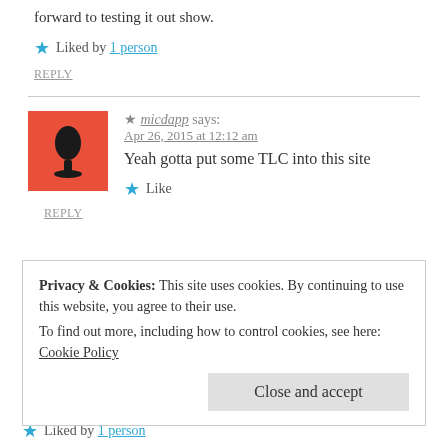forward to testing it out show.
Liked by 1 person
REPLY
[Figure (illustration): Red square avatar with black microphone icon]
micdapp says: Apr 26, 2015 at 12:12 am
Yeah gotta put some TLC into this site
Like
REPLY
Privacy & Cookies: This site uses cookies. By continuing to use this website, you agree to their use. To find out more, including how to control cookies, see here: Cookie Policy
Close and accept
Liked by 1 person